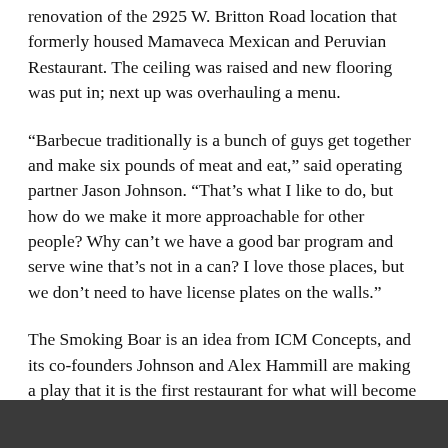renovation of the 2925 W. Britton Road location that formerly housed Mamaveca Mexican and Peruvian Restaurant. The ceiling was raised and new flooring was put in; next up was overhauling a menu.
“Barbecue traditionally is a bunch of guys get together and make six pounds of meat and eat,” said operating partner Jason Johnson. “That’s what I like to do, but how do we make it more approachable for other people? Why can’t we have a good bar program and serve wine that’s not in a can? I love those places, but we don’t need to have license plates on the walls.”
The Smoking Boar is an idea from ICM Concepts, and its co-founders Johnson and Alex Hammill are making a play that it is the first restaurant for what will become the